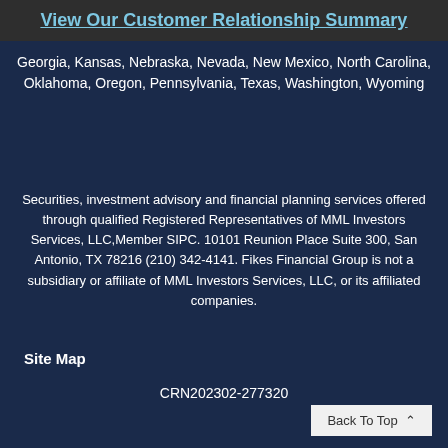View Our Customer Relationship Summary
Georgia, Kansas, Nebraska, Nevada, New Mexico, North Carolina, Oklahoma, Oregon, Pennsylvania, Texas, Washington, Wyoming
Securities, investment advisory and financial planning services offered through qualified Registered Representatives of MML Investors Services, LLC,Member SIPC. 10101 Reunion Place Suite 300, San Antonio, TX 78216 (210) 342-4141. Fikes Financial Group is not a subsidiary or affiliate of MML Investors Services, LLC, or its affiliated companies.
CRN202302-277320
Site Map
Back To Top